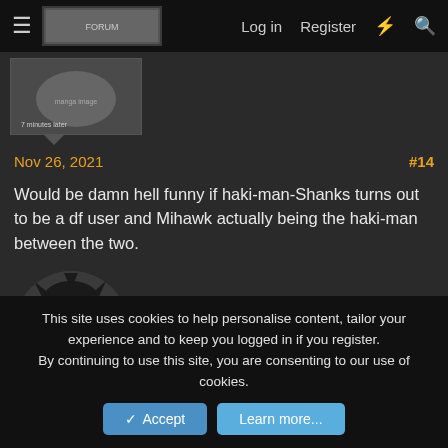Log in  Register
[Figure (screenshot): Forum navigation bar with hamburger menu, site logo/banner image, Log in, Register, lightning bolt icon, and search icon]
[Figure (illustration): Manga-style thumbnail image showing a character, captioned '7 minutes later']
Nov 26, 2021   #14
Would be damn hell funny if haki-man-Shanks turns out to be a df user and Mihawk actually being the haki-man between the two.
[Figure (illustration): Manga avatar image of a laughing male character with spiky dark hair]
Malick the last Light, Krusher1357, I'mTired and 25 others
This site uses cookies to help personalise content, tailor your experience and to keep you logged in if you register.
By continuing to use this site, you are consenting to our use of cookies.